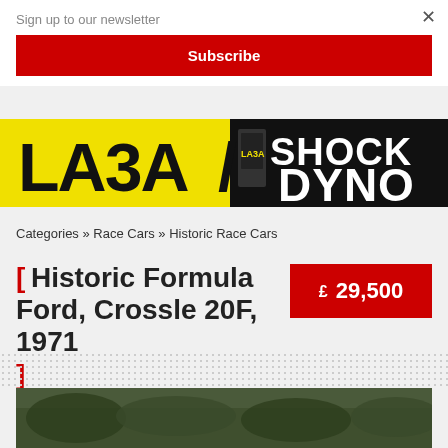Sign up to our newsletter
Subscribe
[Figure (illustration): LA3A Shock Dyno advertisement banner — yellow and black background with bold text 'LA3A SHOCK DYNO']
Categories » Race Cars » Historic Race Cars
[ Historic Formula Ford, Crossle 20F, 1971 ]
£ 29,500
[Figure (photo): Historic Formula Ford race car photo, partially visible at bottom of page]